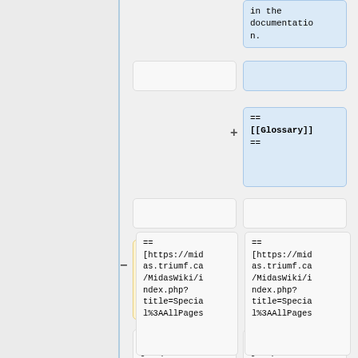in the documentation.
== [[Glossary]] ==
== [[Glossary]] ==
== [https://midas.triumf.ca/MidasWiki/index.php?title=Special%3AAllPages ...
== [https://midas.triumf.ca/MidasWiki/index.php?title=Special%3AAllPages ...